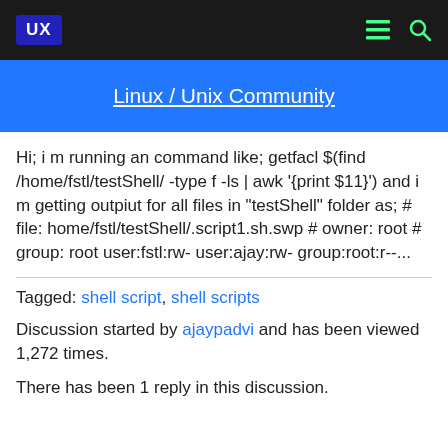UX [logo] | menu icon | search icon
Linux / Unix Community
Hi; i m running an command like; getfacl $(find /home/fstl/testShell/ -type f -ls | awk '{print $11}') and i m getting outpiut for all files in "testShell" folder as; # file: home/fstl/testShell/.script1.sh.swp # owner: root # group: root user:fstl:rw- user:ajay:rw- group:root:r--...
Tagged: shell script, shell scripts
Discussion started by ajaypadvi and has been viewed 1,272 times.
There has been 1 reply in this discussion.